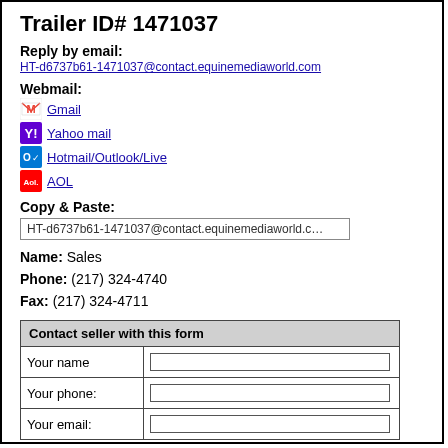Trailer ID# 1471037
Reply by email:
HT-d6737b61-1471037@contact.equinemediaworld.com
Webmail:
Gmail
Yahoo mail
Hotmail/Outlook/Live
AOL
Copy & Paste:
HT-d6737b61-1471037@contact.equinemediaworld.com
Name: Sales
Phone: (217) 324-4740
Fax: (217) 324-4711
| Contact seller with this form |
| --- |
| Your name |  |
| Your phone: |  |
| Your email: |  |